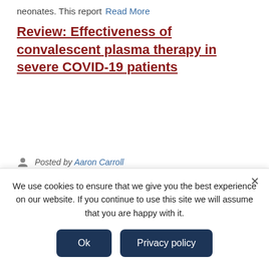neonates. This report  Read More
Review: Effectiveness of convalescent plasma therapy in severe COVID-19 patients
Posted by Aaron Carroll
April 8, 2020
This case series showed convalescent plasma was well tolerated and has potential to improve the clinical outcomes of severe COVID-19 patients. The study...
We use cookies to ensure that we give you the best experience on our website. If you continue to use this site we will assume that you are happy with it.